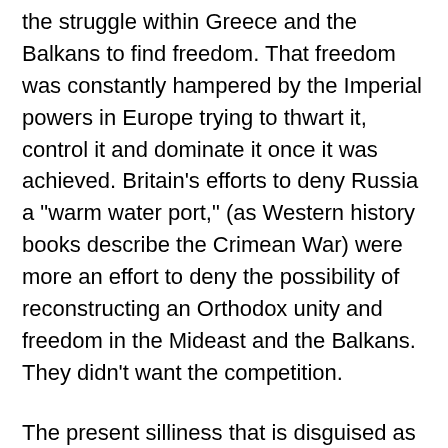the struggle within Greece and the Balkans to find freedom. That freedom was constantly hampered by the Imperial powers in Europe trying to thwart it, control it and dominate it once it was achieved. Britain’s efforts to deny Russia a “warm water port,” (as Western history books describe the Crimean War) were more an effort to deny the possibility of reconstructing an Orthodox unity and freedom in the Mideast and the Balkans. They didn’t want the competition.
The present silliness that is disguised as the “Islamic Spring,” has much more to do with the interests of the Western powers (as did their incursion into Serbia, etc.) than with democracy and human rights. The real victims in the Spring